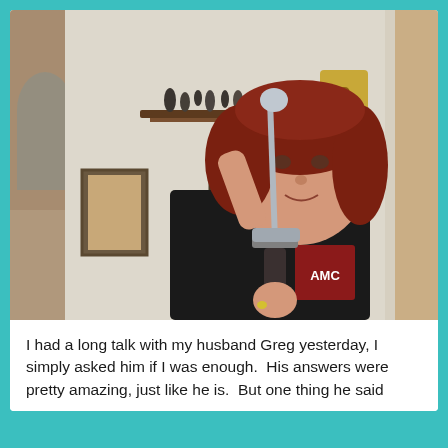[Figure (photo): A middle-aged woman with reddish-brown hair wearing a black AMC t-shirt, holding a large sword up toward her hair/head in an indoor setting. Shelves with figurines and framed pictures on the wall behind her.]
I had a long talk with my husband Greg yesterday, I simply asked him if I was enough.  His answers were pretty amazing, just like he is.  But one thing he said